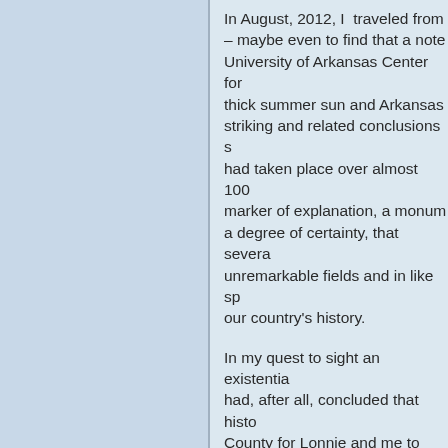In August, 2012, I  traveled from – maybe even to find that a note University of Arkansas Center for thick summer sun and Arkansas striking and related conclusions s had taken place over almost 100 marker of explanation, a monume a degree of certainty, that severa unremarkable fields and in like sp our country's history.
In my quest to sight an existentia had, after all, concluded that histo County for Lonnie and me to inha dismay as I turned the leaves of  heart.
J. Chester Johnson is a poet, essay Chapel & Selected Shorter Poems several languages. He has also c